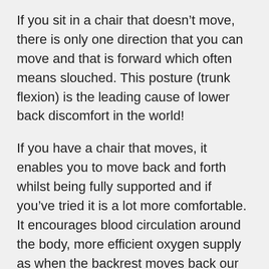If you sit in a chair that doesn't move, there is only one direction that you can move and that is forward which often means slouched. This posture (trunk flexion) is the leading cause of lower back discomfort in the world!
If you have a chair that moves, it enables you to move back and forth whilst being fully supported and if you've tried it is a lot more comfortable. It encourages blood circulation around the body, more efficient oxygen supply as when the backrest moves back our chest opens up and we are able to breathe better and allows our digestive system to work better because we are not squashing our internal organs. No one wants that do they!
Now, obviously sitting in a chair that encourages movement is great but not for long periods. We still